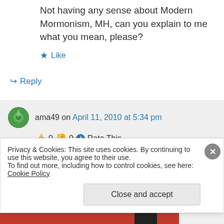Not having any sense about Modern Mormonism, MH, can you explain to me what you mean, please?
★ Like
↪ Reply
ama49 on April 11, 2010 at 5:34 pm
👍 0 👎 0 ℹ Rate This
Hi St Frances Fan
Privacy & Cookies: This site uses cookies. By continuing to use this website, you agree to their use.
To find out more, including how to control cookies, see here: Cookie Policy
Close and accept